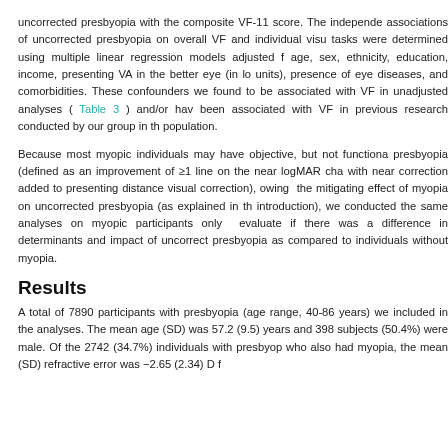uncorrected presbyopia with the composite VF-11 score. The independent associations of uncorrected presbyopia on overall VF and individual visual tasks were determined using multiple linear regression models adjusted for age, sex, ethnicity, education, income, presenting VA in the better eye (in logMAR units), presence of eye diseases, and comorbidities. These confounders were found to be associated with VF in unadjusted analyses ( Table 3 ) and/or have been associated with VF in previous research conducted by our group in this population.
Because most myopic individuals may have objective, but not functional, presbyopia (defined as an improvement of ≥1 line on the near logMAR chart with near correction added to presenting distance visual correction), owing to the mitigating effect of myopia on uncorrected presbyopia (as explained in the introduction), we conducted the same analyses on myopic participants only to evaluate if there was a difference in determinants and impact of uncorrected presbyopia as compared to individuals without myopia.
Results
A total of 7890 participants with presbyopia (age range, 40-86 years) were included in the analyses. The mean age (SD) was 57.2 (9.5) years and 3984 subjects (50.4%) were male. Of the 2742 (34.7%) individuals with presbyopia who also had myopia, the mean (SD) refractive error was −2.65 (2.34) D f